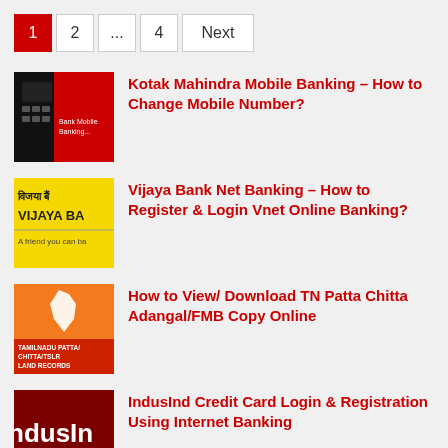Pagination: 1 (active), 2, ..., 4, Next
[Figure (screenshot): Kotak Mahindra Mobile Banking app thumbnail — dark background with red panel]
Kotak Mahindra Mobile Banking – How to Change Mobile Number?
[Figure (screenshot): Vijaya Bank yellow logo thumbnail showing 'विजया बैं', 'VIJAYA BA', 'A friend you can ba']
Vijaya Bank Net Banking – How to Register & Login Vnet Online Banking?
[Figure (screenshot): TN Patta Chitta orange and red thumbnail with Tamil Nadu map icon and text 'TAMILNADU PATTA/ CHITTA/TSLR LAND RECORDS']
How to View/ Download TN Patta Chitta Adangal/FMB Copy Online
[Figure (screenshot): IndusInd Bank dark red thumbnail showing 'ndusIn' and 'Ban']
IndusInd Credit Card Login & Registration Using Internet Banking